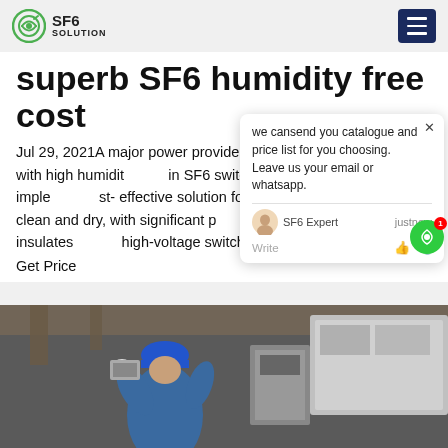SF6 SOLUTION
superb SF6 humidity free cost
Jul 29, 2021A major power provider was having issues with high humidity in SF6 switchgear. our company implemented a cost-effective solution for keeping this installation clean and dry, with significant performance gains. Sulfur hexafluoride (SF 6) insulates high-voltage switchgears around the world.
Get Price
[Figure (photo): Worker in blue hard hat and protective gear working on electrical equipment or switchgear installation]